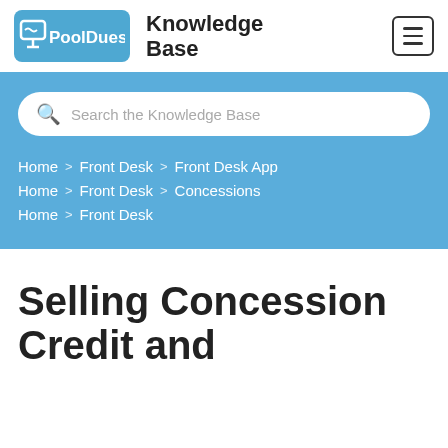PoolDues Knowledge Base
[Figure (screenshot): Search bar with placeholder text: Search the Knowledge Base]
Home > Front Desk > Front Desk App
Home > Front Desk > Concessions
Home > Front Desk
Selling Concession Credit and